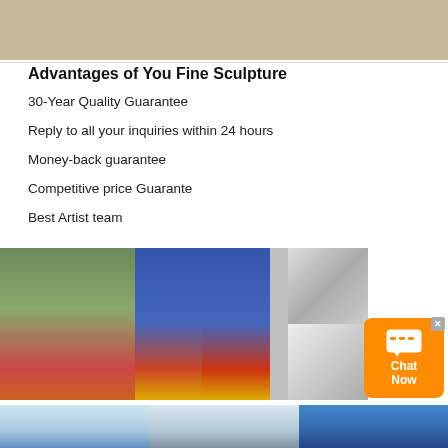[Figure (photo): Three photos of lion sculptures in wooden crates/packaging]
Advantages of You Fine Sculpture
30-Year Quality Guarantee
Reply to all your inquiries within 24 hours
Money-back guarantee
Competitive price Guarante
Best Artist team
[Figure (photo): Grid of photos showing shipping containers being loaded with sculpture crates, and detail shots of installation hardware]
[Figure (photo): Three photos showing outdoor sculptures against blue sky background]